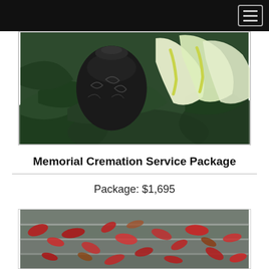[Figure (photo): Photo of a dark decorative urn with scrollwork beside white calla lilies and green leaves]
Memorial Cremation Service Package
Package: $1,695
[Figure (photo): Photo of stone steps covered with fallen red and brown autumn leaves]